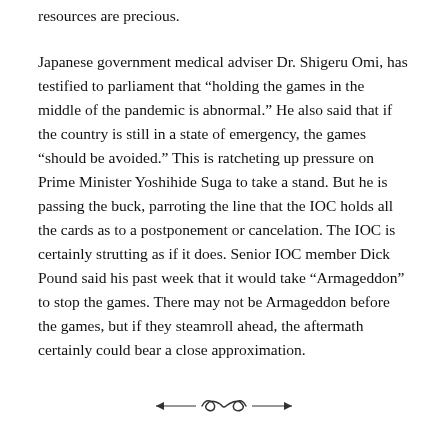resources are precious.
Japanese government medical adviser Dr. Shigeru Omi, has testified to parliament that “holding the games in the middle of the pandemic is abnormal.” He also said that if the country is still in a state of emergency, the games “should be avoided.” This is ratcheting up pressure on Prime Minister Yoshihide Suga to take a stand. But he is passing the buck, parroting the line that the IOC holds all the cards as to a postponement or cancelation. The IOC is certainly strutting as if it does. Senior IOC member Dick Pound said his past week that it would take “Armageddon” to stop the games. There may not be Armageddon before the games, but if they steamroll ahead, the aftermath certainly could bear a close approximation.
[Figure (illustration): Decorative ornamental divider with flourish design]